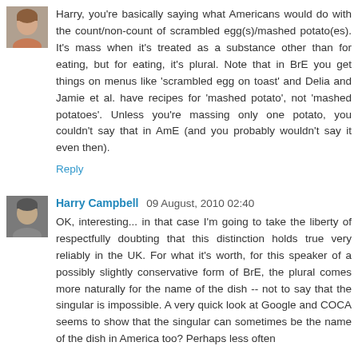[Figure (photo): Small avatar photo of a person, top left of first comment]
Harry, you're basically saying what Americans would do with the count/non-count of scrambled egg(s)/mashed potato(es). It's mass when it's treated as a substance other than for eating, but for eating, it's plural. Note that in BrE you get things on menus like 'scrambled egg on toast' and Delia and Jamie et al. have recipes for 'mashed potato', not 'mashed potatoes'. Unless you're massing only one potato, you couldn't say that in AmE (and you probably wouldn't say it even then).
Reply
[Figure (photo): Small avatar photo of Harry Campbell]
Harry Campbell 09 August, 2010 02:40
OK, interesting... in that case I'm going to take the liberty of respectfully doubting that this distinction holds true very reliably in the UK. For what it's worth, for this speaker of a possibly slightly conservative form of BrE, the plural comes more naturally for the name of the dish -- not to say that the singular is impossible. A very quick look at Google and COCA seems to show that the singular can sometimes be the name of the dish in America too? Perhaps less often